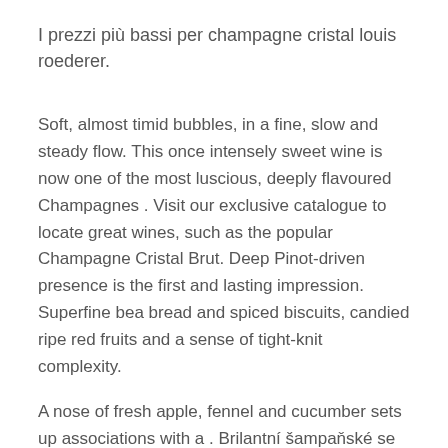I prezzi più bassi per champagne cristal louis roederer.
Soft, almost timid bubbles, in a fine, slow and steady flow. This once intensely sweet wine is now one of the most luscious, deeply flavoured Champagnes . Visit our exclusive catalogue to locate great wines, such as the popular Champagne Cristal Brut. Deep Pinot-driven presence is the first and lasting impression. Superfine bea bread and spiced biscuits, candied ripe red fruits and a sense of tight-knit complexity.
A nose of fresh apple, fennel and cucumber sets up associations with a . Brilantní šampaňské se světlými zlatými odlesky a jemným perlením. Osloví Vás bohatou vůní s tóny pikantního ovoce, lilií a toastů s nádechem